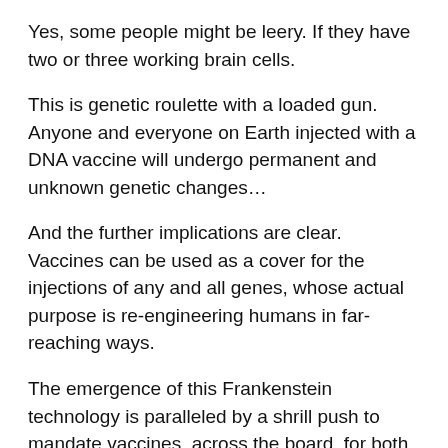Yes, some people might be leery. If they have two or three working brain cells.
This is genetic roulette with a loaded gun. Anyone and everyone on Earth injected with a DNA vaccine will undergo permanent and unknown genetic changes…
And the further implications are clear. Vaccines can be used as a cover for the injections of any and all genes, whose actual purpose is re-engineering humans in far-reaching ways.
The emergence of this Frankenstein technology is paralleled by a shrill push to mandate vaccines, across the board, for both children and adults. The pressure and propaganda are planet-wide.
The freedom and the right to refuse vaccines has always been vital. It is more vital than ever now.